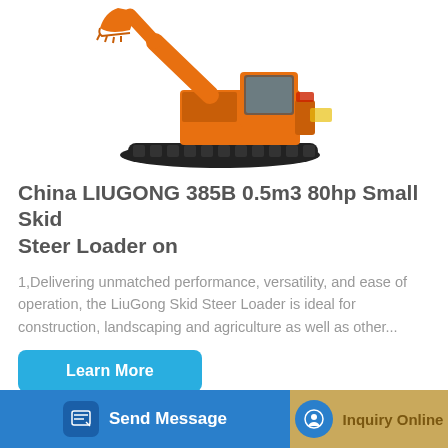[Figure (photo): Orange LIUGONG crawler excavator on white background, showing arm extended with bucket, tracked undercarriage, and operator cab]
China LIUGONG 385B 0.5m3 80hp Small Skid Steer Loader on
1,Delivering unmatched performance, versatility, and ease of operation, the LiuGong Skid Steer Loader is ideal for construction, landscaping and agriculture as well as other...
Learn More
Send Message
Inquiry Online